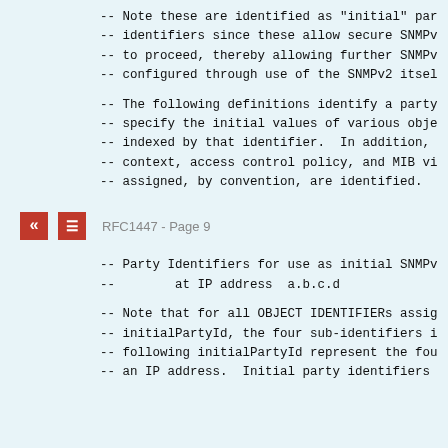-- Note these are identified as "initial" par
-- identifiers since these allow secure SNMPv
-- to proceed, thereby allowing further SNMPv
-- configured through use of the SNMPv2 itsel
-- The following definitions identify a party
-- specify the initial values of various obje
-- indexed by that identifier.  In addition,
-- context, access control policy, and MIB vi
-- assigned, by convention, are identified.
RFC1447 - Page 9
-- Party Identifiers for use as initial SNMPv
--        at IP address  a.b.c.d
-- Note that for all OBJECT IDENTIFIERs assig
-- initialPartyId, the four sub-identifiers i
-- following initialPartyId represent the fou
-- an IP address.  Initial party identifiers